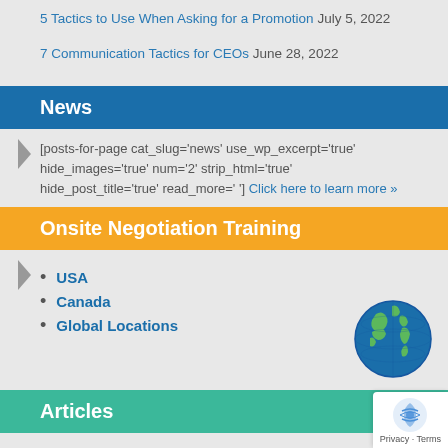5 Tactics to Use When Asking for a Promotion July 5, 2022
7 Communication Tactics for CEOs June 28, 2022
News
[posts-for-page cat_slug='news' use_wp_excerpt='true' hide_images='true' num='2' strip_html='true' hide_post_title='true' read_more=' '] Click here to learn more »
Onsite Negotiation Training
USA
Canada
Global Locations
[Figure (illustration): Globe illustration showing Americas and world map]
Articles